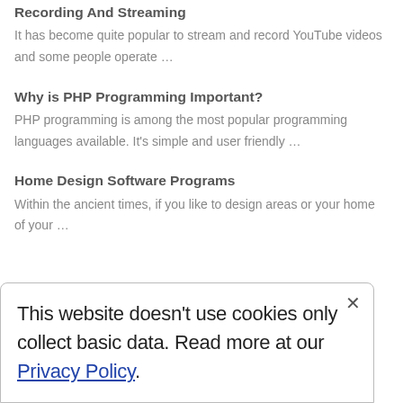Recording And Streaming
It has become quite popular to stream and record YouTube videos and some people operate …
Why is PHP Programming Important?
PHP programming is among the most popular programming languages available. It's simple and user friendly …
Home Design Software Programs
Within the ancient times, if you like to design areas or your home of your …
This website doesn't use cookies only collect basic data. Read more at our Privacy Policy.